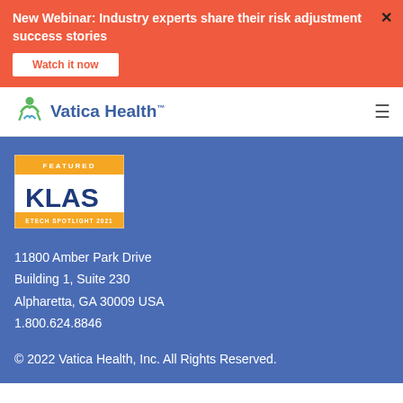New Webinar: Industry experts share their risk adjustment success stories
Watch it now
[Figure (logo): Vatica Health logo with stylized figure icon and company name]
[Figure (logo): KLAS Featured ETech Spotlight 2021 badge]
11800 Amber Park Drive
Building 1, Suite 230
Alpharetta, GA 30009 USA
1.800.624.8846
© 2022 Vatica Health, Inc. All Rights Reserved.